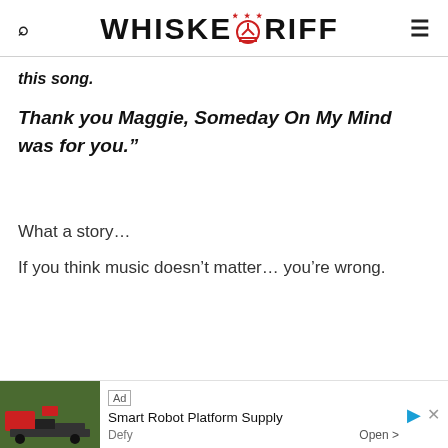WHISKEY RIFF
this song.
Thank you Maggie, Someday On My Mind was for you."
What a story...
If you think music doesn't matter… you're wrong.
[Figure (other): Advertisement banner: Smart Robot Platform Supply, Defy, Open button]